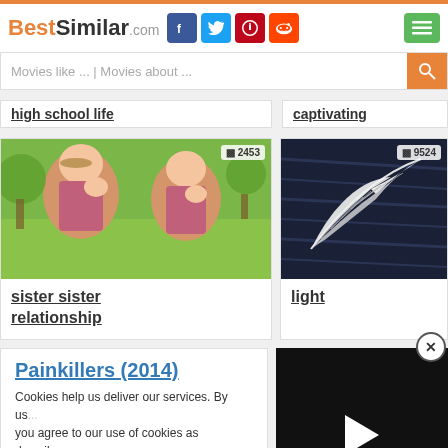[Figure (screenshot): BestSimilar.com website header with logo, social media icons (Facebook, Twitter, Pinterest, Reddit), and hamburger menu button]
[Figure (screenshot): Search bar with placeholder text 'Movies like ... | Movies about ...' and orange search button]
high school life
captivating
[Figure (photo): Two young girls laughing with hands over mouths outdoors, badge showing 2453]
[Figure (photo): White feather on dark water background, badge showing 9524]
sister sister relationship
light
Painkillers (2014)
Cookies help us deliver our services. By us... you agree to our use of cookies as describe...
[Figure (screenshot): Video player panel with play button on black background]